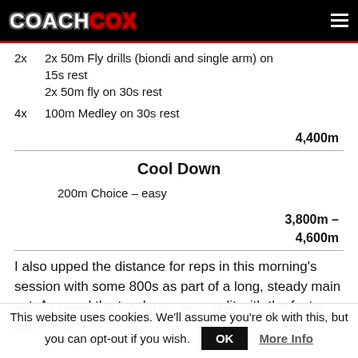COACH COX
2x  2x 50m Fly drills (biondi and single arm) on 15s rest
2x 50m fly on 30s rest
4x  100m Medley on 30s rest
4,400m
Cool Down
200m Choice – easy
3,800m – 4,600m
I also upped the distance for reps in this morning's session with some 800s as part of a long, steady main set. As usual the two lanes were split with the faster lane focussing on a
This website uses cookies. We'll assume you're ok with this, but you can opt-out if you wish.